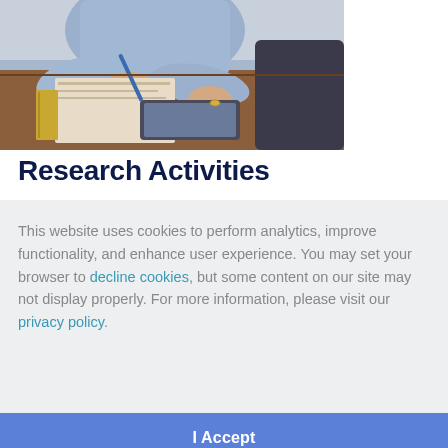[Figure (photo): Person in blue shirt writing in a book at a desk, viewed from above at an angle, with a pen in hand and what appears to be a tablet or books on the desk.]
Research Activities
This website uses cookies to perform analytics, improve functionality, and enhance user experience. You may set your browser to decline cookies, but some content on our site may not display properly. For more information, please visit our privacy policy.
I Accept